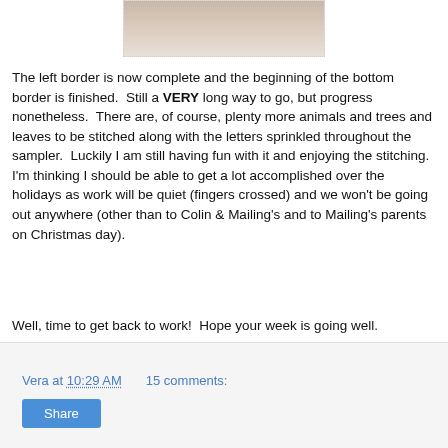[Figure (photo): Partial photo of a needlework/cross-stitch sampler, cropped at the top of the page]
The left border is now complete and the beginning of the bottom border is finished.  Still a VERY long way to go, but progress nonetheless.  There are, of course, plenty more animals and trees and leaves to be stitched along with the letters sprinkled throughout the sampler.  Luckily I am still having fun with it and enjoying the stitching.  I'm thinking I should be able to get a lot accomplished over the holidays as work will be quiet (fingers crossed) and we won't be going out anywhere (other than to Colin & Mailing's and to Mailing's parents on Christmas day).
Well, time to get back to work!  Hope your week is going well.
Vera at 10:29 AM    15 comments: